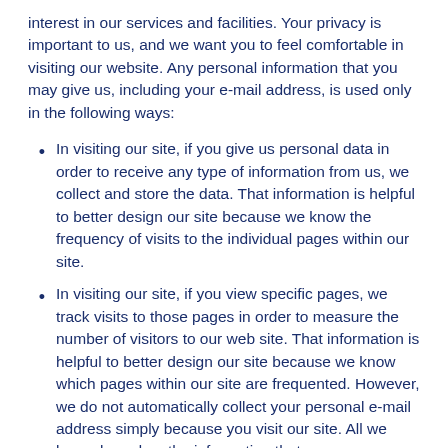interest in our services and facilities. Your privacy is important to us, and we want you to feel comfortable in visiting our website. Any personal information that you may give us, including your e-mail address, is used only in the following ways:
In visiting our site, if you give us personal data in order to receive any type of information from us, we collect and store the data. That information is helpful to better design our site because we know the frequency of visits to the individual pages within our site.
In visiting our site, if you view specific pages, we track visits to those pages in order to measure the number of visitors to our web site. That information is helpful to better design our site because we know which pages within our site are frequented. However, we do not automatically collect your personal e-mail address simply because you visit our site. All we know, based on the information that we